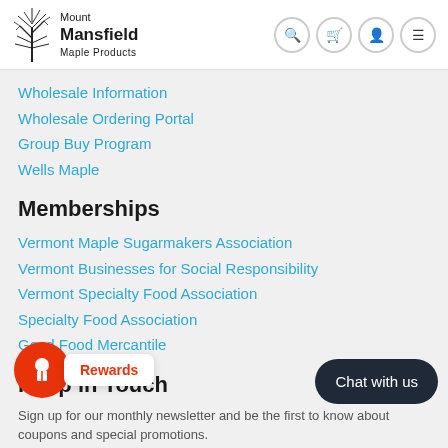Mount Mansfield Maple Products
Wholesale Information
Wholesale Ordering Portal
Group Buy Program
Wells Maple
Memberships
Vermont Maple Sugarmakers Association
Vermont Businesses for Social Responsibility
Vermont Specialty Food Association
Specialty Food Association
Good Food Mercantile
Keep in Touch
Sign up for our monthly newsletter and be the first to know about coupons and special promotions.